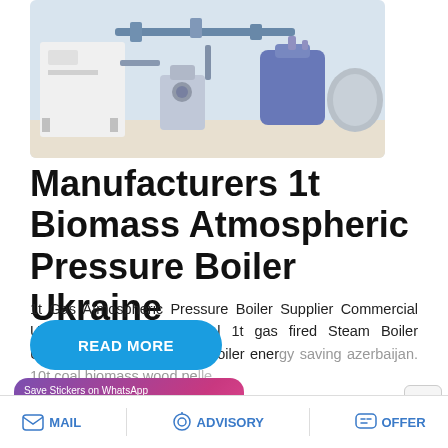[Figure (photo): Industrial boiler room with white boiler unit on left, blue cylindrical tank and gray spherical tank on right, pipes overhead, clean industrial setting]
Manufacturers 1t Biomass Atmospheric Pressure Boiler Ukraine
1t Gas Atmospheric Pressure Boiler Supplier Commercial Ukraine. Agent Commercial 1t gas fired Steam Boiler Ukraine manufacturers 10t boiler energy saving azerbaijan. 10t coal biomass wood pe...
READ MORE
[Figure (screenshot): Save Stickers on WhatsApp banner with green WhatsApp icon and pink emoji icon]
MAIL    ADVISORY    OFFER